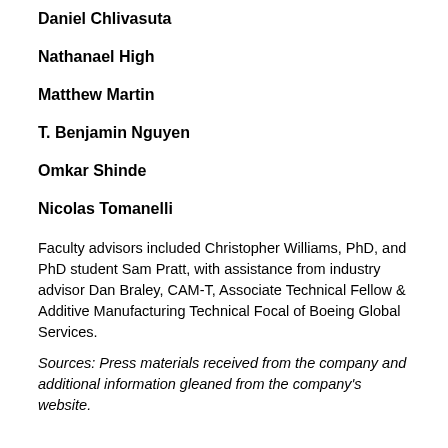Daniel Chlivasuta
Nathanael High
Matthew Martin
T. Benjamin Nguyen
Omkar Shinde
Nicolas Tomanelli
Faculty advisors included Christopher Williams, PhD, and PhD student Sam Pratt, with assistance from industry advisor Dan Braley, CAM-T, Associate Technical Fellow & Additive Manufacturing Technical Focal of Boeing Global Services.
Sources: Press materials received from the company and additional information gleaned from the company's website.